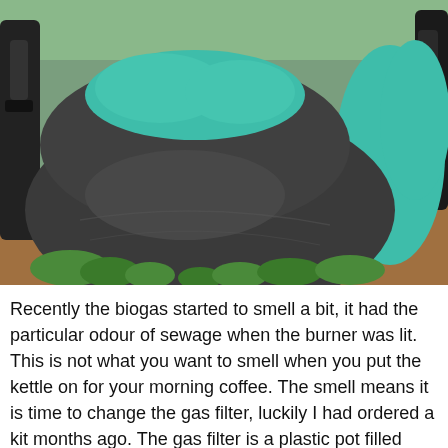[Figure (photo): Photograph of an inflated biogas digester bag made of dark grey/black flexible material with a teal/green plastic bag or cover visible on top and sides. The digester is outdoors surrounded by green plants. Pipes and equipment are visible on the sides.]
Recently the biogas started to smell a bit, it had the particular odour of sewage when the burner was lit. This is not what you want to smell when you put the kettle on for your morning coffee. The smell means it is time to change the gas filter, luckily I had ordered a kit months ago. The gas filter is a plastic pot filled with activated charcoal, the pot has holes in the top and the sides so gas can travel